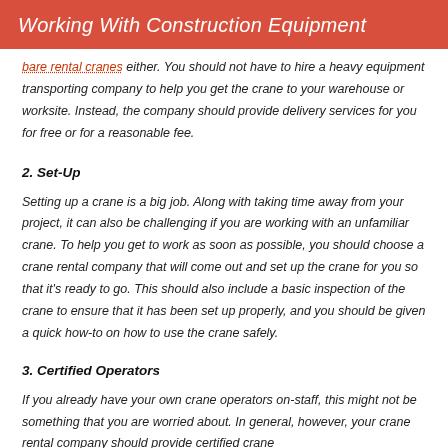Working With Construction Equipment
bare rental cranes either. You should not have to hire a heavy equipment transporting company to help you get the crane to your warehouse or worksite. Instead, the company should provide delivery services for you for free or for a reasonable fee.
2. Set-Up
Setting up a crane is a big job. Along with taking time away from your project, it can also be challenging if you are working with an unfamiliar crane. To help you get to work as soon as possible, you should choose a crane rental company that will come out and set up the crane for you so that it's ready to go. This should also include a basic inspection of the crane to ensure that it has been set up properly, and you should be given a quick how-to on how to use the crane safely.
3. Certified Operators
If you already have your own crane operators on-staff, this might not be something that you are worried about. In general, however, your crane rental company should provide certified crane